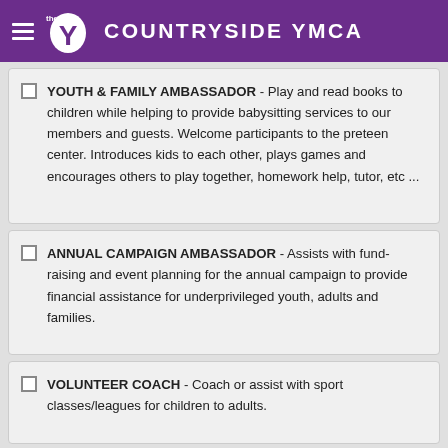COUNTRYSIDE YMCA
YOUTH & FAMILY AMBASSADOR - Play and read books to children while helping to provide babysitting services to our members and guests. Welcome participants to the preteen center. Introduces kids to each other, plays games and encourages others to play together, homework help, tutor, etc ...
ANNUAL CAMPAIGN AMBASSADOR - Assists with fund-raising and event planning for the annual campaign to provide financial assistance for underprivileged youth, adults and families.
VOLUNTEER COACH - Coach or assist with sport classes/leagues for children to adults.